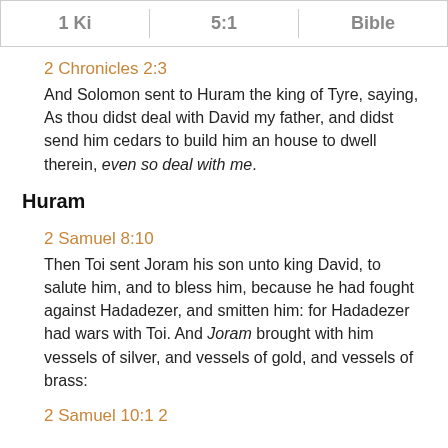1 Ki  5:1  Bible
2 Chronicles 2:3
And Solomon sent to Huram the king of Tyre, saying, As thou didst deal with David my father, and didst send him cedars to build him an house to dwell therein, even so deal with me.
Huram
2 Samuel 8:10
Then Toi sent Joram his son unto king David, to salute him, and to bless him, because he had fought against Hadadezer, and smitten him: for Hadadezer had wars with Toi. And Joram brought with him vessels of silver, and vessels of gold, and vessels of brass:
2 Samuel 10:1 2